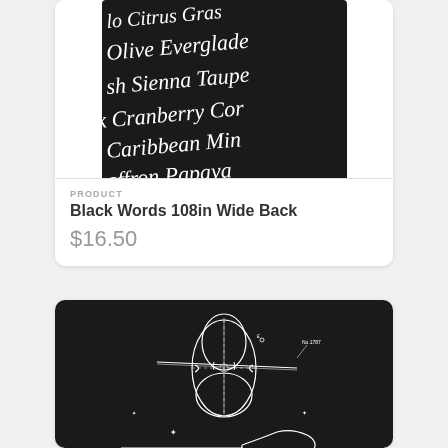[Figure (photo): Black fabric with white handwritten color names: Olive, Everglade, Sienna, Taupe, Cranberry, Caribbean, Mint, Saffron, Papaya, etc.]
PRODUCT
Black Words 108in Wide Back
$16.50
[Figure (photo): Black fabric with white illustrated musical instruments: violin/cello, trombone, French horn, trumpet, with blueprint/technical drawing style and text 'No. 1787', 'No. 1782']